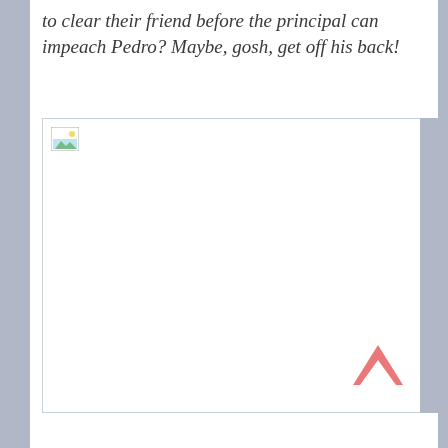to clear their friend before the principal can impeach Pedro? Maybe, gosh, get off his back!
[Figure (other): A broken/missing image placeholder icon (landscape icon with small mountains and sky) in the top-left corner of a large empty white image box with a border.]